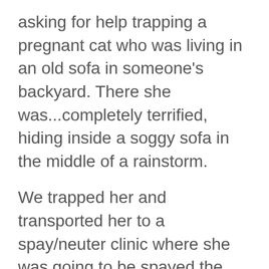asking for help trapping a pregnant cat who was living in an old sofa in someone's backyard. There she was...completely terrified, hiding inside a soggy sofa in the middle of a rainstorm.
We trapped her and transported her to a spay/neuter clinic where she was going to be spayed the next morning. Imagine our surprise when we pulled back her trap cover to sedate her for surgery, only to find her sitting next to a puddle of five newborn kittens!
While she was not vicious, she was very frightened which did not make her a good candidate for an inexperienced foster. We took her in to our sanctuary and helped her raise and socialize her five beautiful